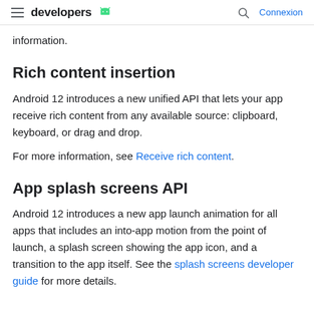developers — Connexion
information.
Rich content insertion
Android 12 introduces a new unified API that lets your app receive rich content from any available source: clipboard, keyboard, or drag and drop.
For more information, see Receive rich content.
App splash screens API
Android 12 introduces a new app launch animation for all apps that includes an into-app motion from the point of launch, a splash screen showing the app icon, and a transition to the app itself. See the splash screens developer guide for more details.